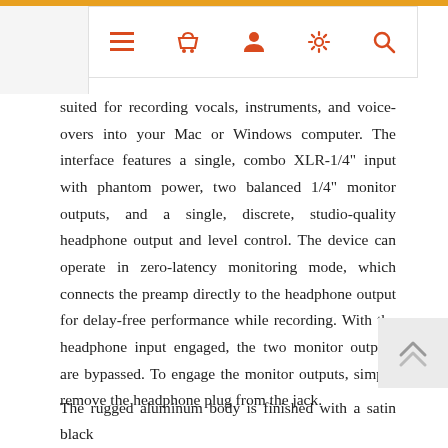Navigation bar with menu, basket, user, settings, and search icons
suited for recording vocals, instruments, and voice-overs into your Mac or Windows computer. The interface features a single, combo XLR-1/4" input with phantom power, two balanced 1/4" monitor outputs, and a single, discrete, studio-quality headphone output and level control. The device can operate in zero-latency monitoring mode, which connects the preamp directly to the headphone output for delay-free performance while recording. With the headphone input engaged, the two monitor outputs are bypassed. To engage the monitor outputs, simply remove the headphone plug from the jack.
The rugged aluminum body is finished with a satin black